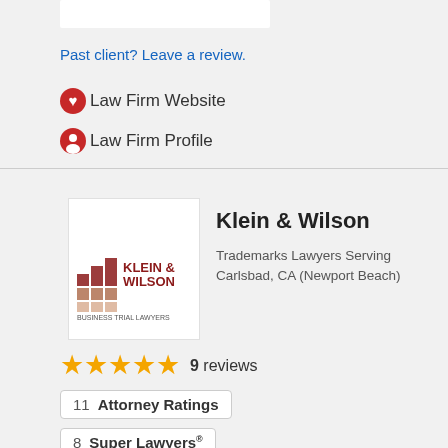Past client? Leave a review.
Law Firm Website
Law Firm Profile
Klein & Wilson
Trademarks Lawyers Serving Carlsbad, CA (Newport Beach)
[Figure (logo): Klein & Wilson Business Trial Lawyers logo with tagline 'A reputation built on winning.']
9 reviews
11 Attorney Ratings
8 Super Lawyers®
Law Firm Website
Law Firm Profile